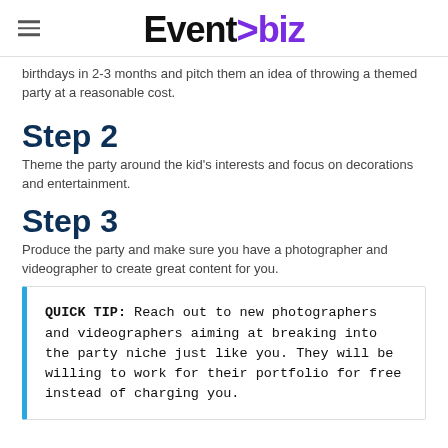EventBiz
birthdays in 2-3 months and pitch them an idea of throwing a themed party at a reasonable cost.
Step 2
Theme the party around the kid's interests and focus on decorations and entertainment.
Step 3
Produce the party and make sure you have a photographer and videographer to create great content for you.
QUICK TIP: Reach out to new photographers and videographers aiming at breaking into the party niche just like you. They will be willing to work for their portfolio for free instead of charging you.